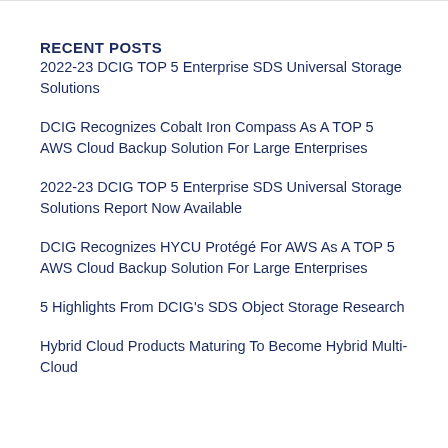RECENT POSTS
2022-23 DCIG TOP 5 Enterprise SDS Universal Storage Solutions
DCIG Recognizes Cobalt Iron Compass As A TOP 5 AWS Cloud Backup Solution For Large Enterprises
2022-23 DCIG TOP 5 Enterprise SDS Universal Storage Solutions Report Now Available
DCIG Recognizes HYCU Protégé For AWS As A TOP 5 AWS Cloud Backup Solution For Large Enterprises
5 Highlights From DCIG's SDS Object Storage Research
Hybrid Cloud Products Maturing To Become Hybrid Multi-Cloud